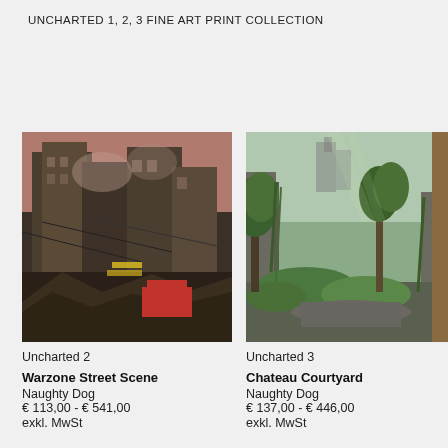UNCHARTED 1, 2, 3 FINE ART PRINT COLLECTION
[Figure (photo): Warzone street scene concept art from Uncharted 2 showing a destroyed urban environment with collapsed buildings and debris]
Uncharted 2
Warzone Street Scene
Naughty Dog
€ 113,00 - € 541,00
exkl. MwSt
[Figure (photo): Chateau Courtyard concept art from Uncharted 3 showing a lush green overgrown chateau exterior with trees and moss-covered stone walls]
Uncharted 3
Chateau Courtyard
Naughty Dog
€ 137,00 - € 446,00
exkl. MwSt